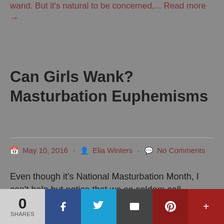wand. But it's natural to be concerned,... Read more →
Can Girls Wank? Masturbation Euphemisms
May 10, 2016 · Elia Winters · No Comments
Even though it's National Masturbation Month, I can't help but notice that we so seldom call masturbation what it is. It's a long word, surely,
0 SHARES | Facebook | Twitter | Email | Pinterest | More